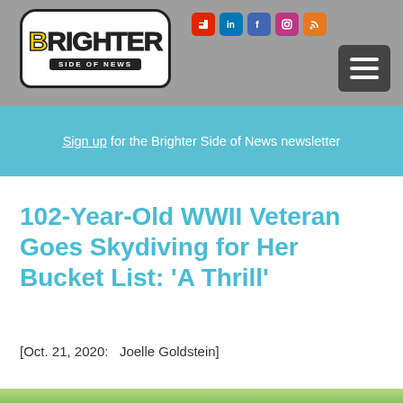Brighter Side of News — header navigation
Sign up for the Brighter Side of News newsletter
102-Year-Old WWII Veteran Goes Skydiving for Her Bucket List: 'A Thrill'
[Oct. 21, 2020:   Joelle Goldstein]
[Figure (photo): Bottom image strip, partial photo visible at bottom edge of page]